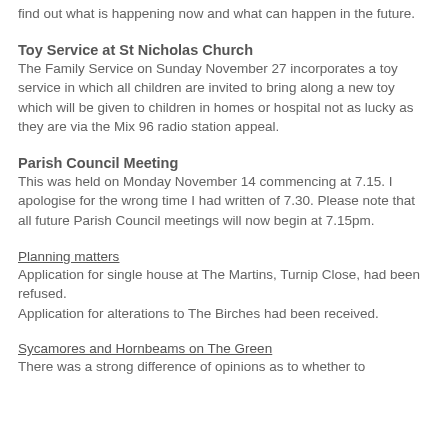find out what is happening now and what can happen in the future.
Toy Service at St Nicholas Church
The Family Service on Sunday November 27 incorporates a toy service in which all children are invited to bring along a new toy which will be given to children in homes or hospital not as lucky as they are via the Mix 96 radio station appeal.
Parish Council Meeting
This was held on Monday November 14 commencing at 7.15. I apologise for the wrong time I had written of 7.30. Please note that all future Parish Council meetings will now begin at 7.15pm.
Planning matters
Application for single house at The Martins, Turnip Close, had been refused.
Application for alterations to The Birches had been received.
Sycamores and Hornbeams on The Green
There was a strong difference of opinions as to whether to